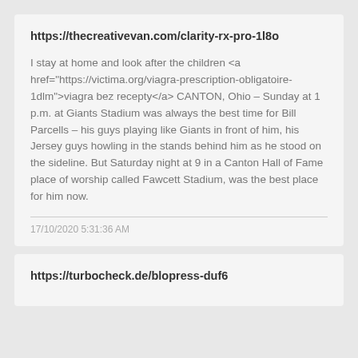https://thecreativevan.com/clarity-rx-pro-1l8o
I stay at home and look after the children <a href="https://victima.org/viagra-prescription-obligatoire-1dlm">viagra bez recepty</a> CANTON, Ohio – Sunday at 1 p.m. at Giants Stadium was always the best time for Bill Parcells – his guys playing like Giants in front of him, his Jersey guys howling in the stands behind him as he stood on the sideline. But Saturday night at 9 in a Canton Hall of Fame place of worship called Fawcett Stadium, was the best place for him now.
17/10/2020 5:31:36 AM
https://turbocheck.de/blopress-duf6